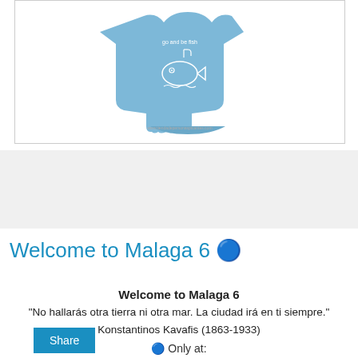[Figure (photo): A light blue infant onesie/bodysuit with a white cartoon fish design and text printed on it. The garment is displayed on a white background with a subtle watermark URL at the bottom.]
Share
Welcome to Malaga 6 🔵
Welcome to Malaga 6
"No hallarás otra tierra ni otra mar. La ciudad irá en ti siempre."
Konstantinos Kavafis (1863-1933)
🔵 Only at: